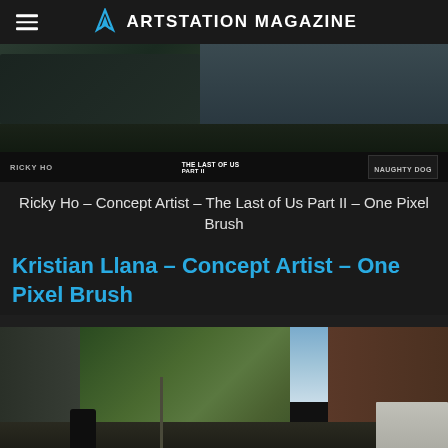ARTSTATION MAGAZINE
[Figure (photo): Concept art from The Last of Us Part II by Ricky Ho, showing a dark scene with vehicle/bunker imagery. Bottom bar shows 'RICKY HO' credit, 'THE LAST OF US PART II' logo, and 'NAUGHTY DOG' studio logo.]
Ricky Ho – Concept Artist – The Last of Us Part II – One Pixel Brush
Kristian Llana – Concept Artist – One Pixel Brush
[Figure (photo): Concept art showing an overgrown post-apocalyptic city street with ivy-covered buildings, a character in the foreground, and a van on the right side.]